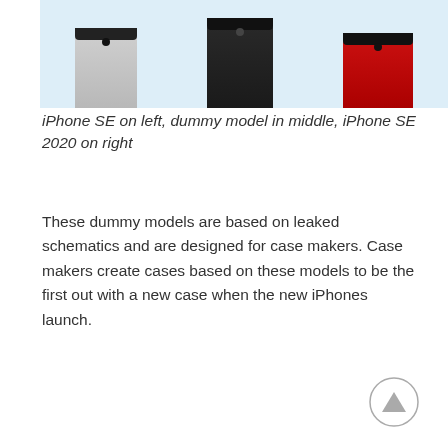[Figure (photo): Three phone models shown from above against a light blue background: a silver iPhone SE on the left, a black dummy model in the middle, and a red iPhone SE 2020 on the right.]
iPhone SE on left, dummy model in middle, iPhone SE 2020 on right
These dummy models are based on leaked schematics and are designed for case makers. Case makers create cases based on these models to be the first out with a new case when the new iPhones launch.